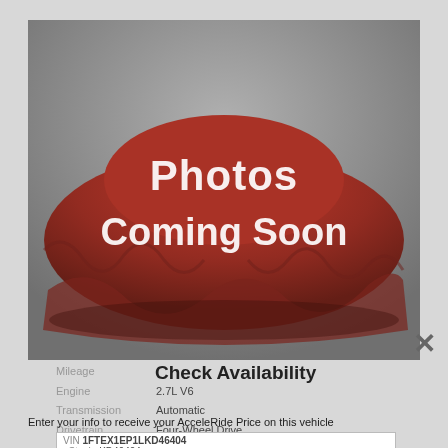[Figure (photo): Placeholder image of a car covered with a red drape on a gray background, with text 'Photos Coming Soon' overlaid in bold white/gray letters.]
Check Availability
Mileage
Engine    2.7L V6
Transmission    Automatic
Drivetrain    Four-Wheel Drive
Enter your info to receive your AcceleRide Price on this vehicle
| VIN 1FTEX1EP1LKD46404 |
| Stock: KD46404 |